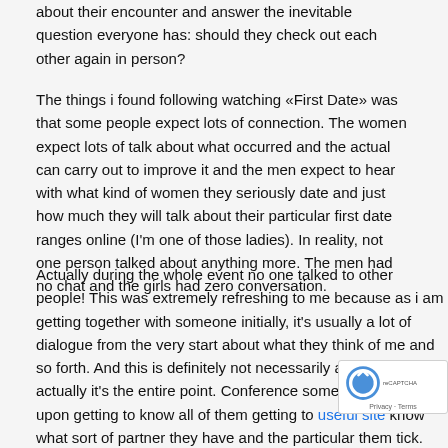about their encounter and answer the inevitable question everyone has: should they check out each other again in person?
The things i found following watching «First Date» was that some people expect lots of connection. The women expect lots of talk about what occurred and the actual can carry out to improve it and the men expect to hear with what kind of women they seriously date and just how much they will talk about their particular first date ranges online (I'm one of those ladies). In reality, not one person talked about anything more. The men had no chat and the girls had zero conversation.
Actually during the whole event no one talked to other people! This was extremely refreshing to me because as i am getting together with someone initially, it's usually a lot of dialogue from the very start about what they think of me and so forth. And this is definitely not necessarily a poor thing; actually it's the entire point. Conference someone depends upon getting to know all of them getting to useful site know what sort of partner they have and the particular them tick.